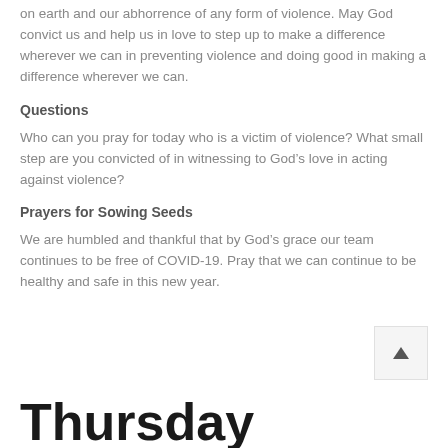on earth and our abhorrence of any form of violence. May God convict us and help us in love to step up to make a difference wherever we can in preventing violence and doing good in making a difference wherever we can.
Questions
Who can you pray for today who is a victim of violence? What small step are you convicted of in witnessing to God’s love in acting against violence?
Prayers for Sowing Seeds
We are humbled and thankful that by God’s grace our team continues to be free of COVID-19. Pray that we can continue to be healthy and safe in this new year.
Thursday